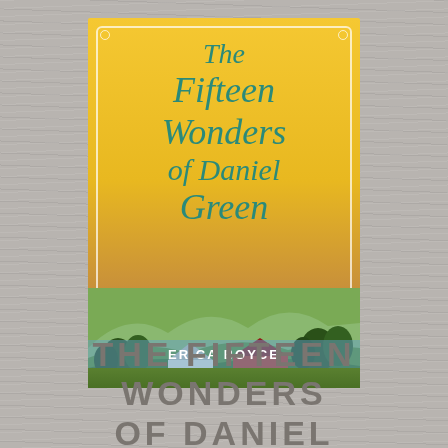[Figure (illustration): Book cover of 'The Fifteen Wonders of Daniel Green' by Erica Boyce. Yellow background with teal script title text, decorative white border, scenic landscape with green hills, mountains, trees, a red barn, and white house at bottom. Author name in white bold text on blue-tinted banner.]
THE FIFTEEN WONDERS OF DANIEL